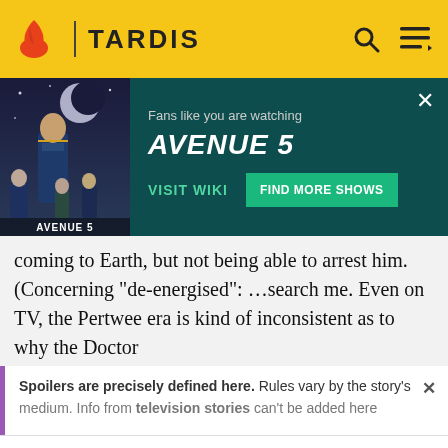TARDIS
[Figure (screenshot): Avenue 5 promotional banner with show poster, 'Fans like you are watching AVENUE 5', VISIT WIKI and FIND MORE SHOWS buttons on dark teal background]
coming to Earth, but not being able to arrest him. (Concerning "de-energised": …search me. Even on TV, the Pertwee era is kind of inconsistent as to why the Doctor
Spoilers are precisely defined here. Rules vary by the story's medium. Info from television stories can't be added here
READ MORE
should be from the rest of the change there is no
[Figure (screenshot): Varusteleka.com advertisement banner: GEAR & MORE with Varusteleka logo on dark background with outdoorsman figure]